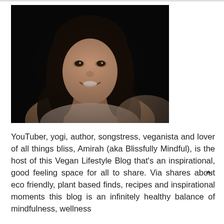[Figure (photo): Portrait photo of a woman with long dark hair, smiling, against a dark/black background. She is wearing a light-colored top.]
YouTuber, yogi, author, songstress, veganista and lover of all things bliss, Amirah (aka Blissfully Mindful), is the host of this Vegan Lifestyle Blog that's an inspirational, good feeling space for all to share. Via shares about eco friendly, plant based finds, recipes and inspirational moments this blog is an infinitely healthy balance of mindfulness, wellness